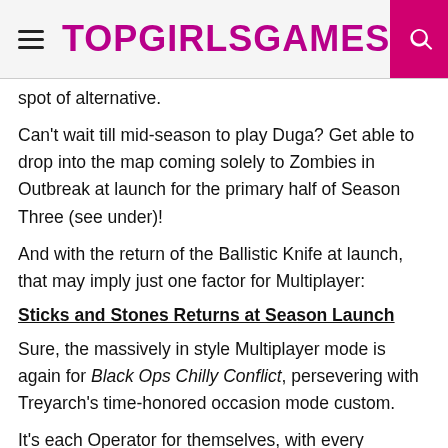TOPGIRLSGAMES
spot of alternative.
Can't wait till mid-season to play Duga? Get able to drop into the map coming solely to Zombies in Outbreak at launch for the primary half of Season Three (see under)!
And with the return of the Ballistic Knife at launch, that may imply just one factor for Multiplayer:
Sticks and Stones Returns at Season Launch
Sure, the massively in style Multiplayer mode is again for Black Ops Chilly Conflict, persevering with Treyarch's time-honored occasion mode custom.
It's each Operator for themselves, with every participant deploying with the R1 Shadowhunter crossbow, Ballistic Knife,